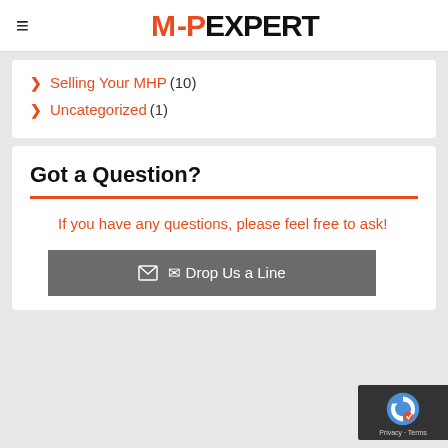MHP EXPERT
Selling Your MHP (10)
Uncategorized (1)
Got a Question?
If you have any questions, please feel free to ask!
Drop Us a Line